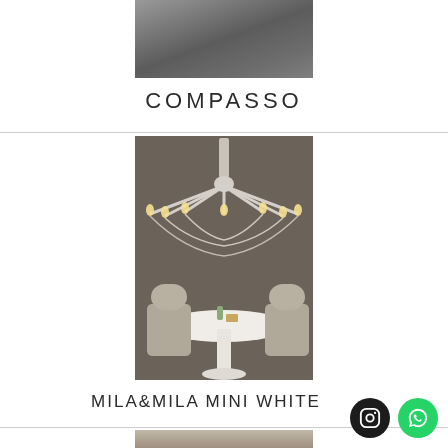[Figure (photo): Partial top image - dark grey gradient rectangle, cropped product/brand header image]
COMPASSO
[Figure (photo): A white candle-style chandelier (MILA&MILA MINI WHITE) hanging over a white round dining table with two upholstered chairs in a warm-lit room with grey walls]
MILA&MILA MINI WHITE
[Figure (photo): Partial bottom image - cropped brown/tan background, beginning of another product image]